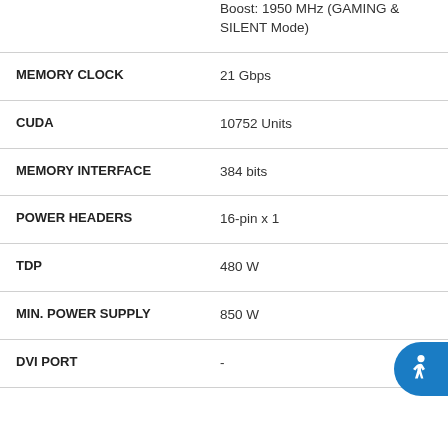| Specification | Value |
| --- | --- |
|  | Boost: 1950 MHz (GAMING & SILENT Mode) |
| MEMORY CLOCK | 21 Gbps |
| CUDA | 10752 Units |
| MEMORY INTERFACE | 384 bits |
| POWER HEADERS | 16-pin x 1 |
| TDP | 480 W |
| MIN. POWER SUPPLY | 850 W |
| DVI PORT | - |